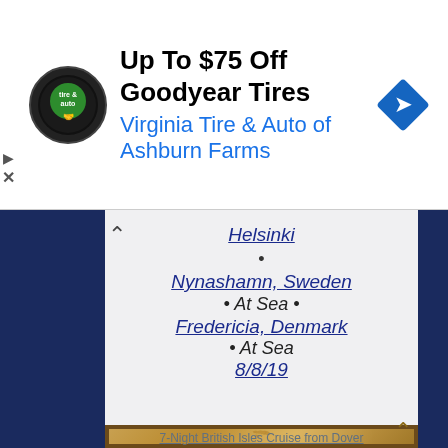[Figure (illustration): Advertisement banner for Virginia Tire & Auto of Ashburn Farms showing logo, text 'Up To $75 Off Goodyear Tires', subtitle 'Virginia Tire & Auto of Ashburn Farms', and a blue navigation arrow icon]
Helsinki
Nynashamn, Sweden
• At Sea •
Fredericia, Denmark
• At Sea
8/8/19
[Figure (map): Antique-style cruise map showing British Isles and Northern Europe route in warm golden/brown tones with route lines]
We use cookies on our website. No, not the Eat Me Cookies from Alice in Wonderland, but the digital type that help us provide a better user experience. If you continue to use this site you are accepting our cookie policy.
Accept   Read more
7-Night British Isles Cruise from Dover